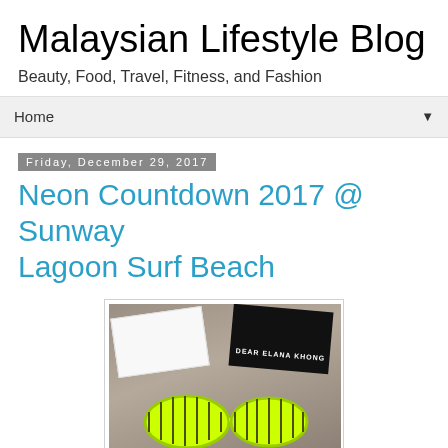Malaysian Lifestyle Blog
Beauty, Food, Travel, Fitness, and Fashion
Home ▼
Friday, December 29, 2017
Neon Countdown 2017 @ Sunway Lagoon Surf Beach
[Figure (photo): Photo of neon yellow shutter shades sunglasses resting on a box on a gray sofa, with a white ticket/receipt and a black card reading DEAR ELANA KHONG in the background]